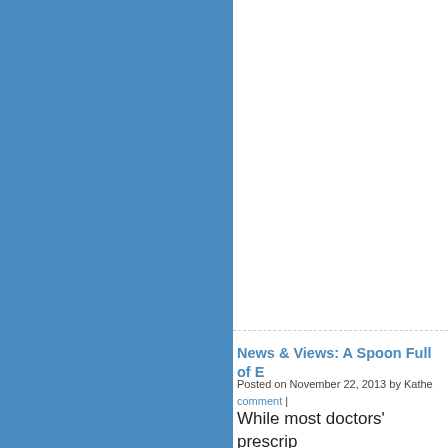[Figure (illustration): Large blue rectangular panel occupying the left half of the page]
News & Views: A Spoon Full of E
Posted on November 22, 2013 by Kathe... | comment |
While most doctors' prescriptions to write prescriptions for fres